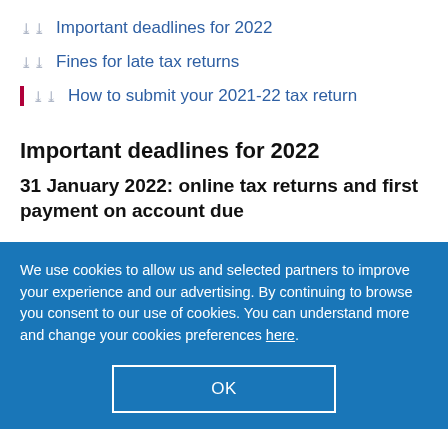Important deadlines for 2022
Fines for late tax returns
How to submit your 2021-22 tax return
Important deadlines for 2022
31 January 2022: online tax returns and first payment on account due
We use cookies to allow us and selected partners to improve your experience and our advertising. By continuing to browse you consent to our use of cookies. You can understand more and change your cookies preferences here.